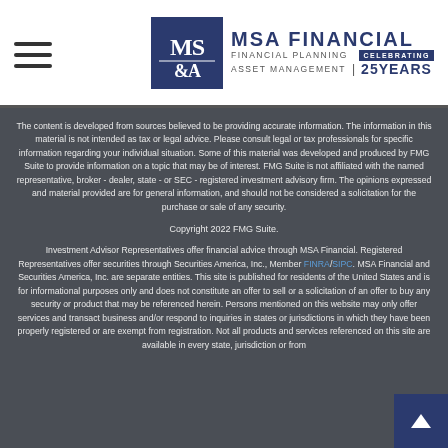MSA FINANCIAL | FINANCIAL PLANNING ASSET MANAGEMENT | CELEBRATING 25 YEARS
The content is developed from sources believed to be providing accurate information. The information in this material is not intended as tax or legal advice. Please consult legal or tax professionals for specific information regarding your individual situation. Some of this material was developed and produced by FMG Suite to provide information on a topic that may be of interest. FMG Suite is not affiliated with the named representative, broker - dealer, state - or SEC - registered investment advisory firm. The opinions expressed and material provided are for general information, and should not be considered a solicitation for the purchase or sale of any security.
Copyright 2022 FMG Suite.
Investment Advisor Representatives offer financial advice through MSA Financial. Registered Representatives offer securities through Securities America, Inc., Member FINRA/SIPC. MSA Financial and Securities America, Inc. are separate entities. This site is published for residents of the United States and is for informational purposes only and does not constitute an offer to sell or a solicitation of an offer to buy any security or product that may be referenced herein. Persons mentioned on this website may only offer services and transact business and/or respond to inquiries in states or jurisdictions in which they have been properly registered or are exempt from registration. Not all products and services referenced on this site are available in every state, jurisdiction or from